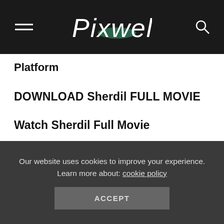Pixwell
Platform
DOWNLOAD Sherdil FULL MOVIE
Watch Sherdil Full Movie
Sherdil full movie watch online Dailymotion
Dailymotion is a piracy website that leaks movies and
Our website uses cookies to improve your experience. Learn more about: cookie policy
ACCEPT